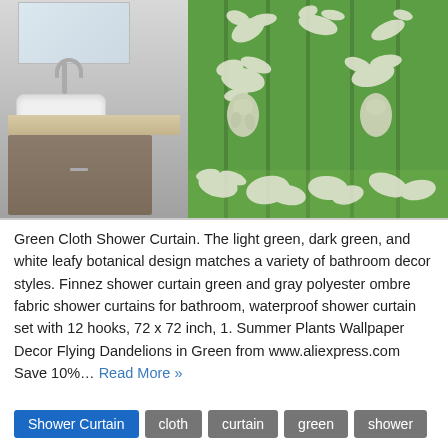[Figure (photo): Composite image: left side shows a modern bathroom vanity with white vessel sink, wood counter, gray cabinet, and chrome faucet against a light gray background; right side shows a green shower curtain with white leafy botanical damask pattern]
Green Cloth Shower Curtain. The light green, dark green, and white leafy botanical design matches a variety of bathroom decor styles. Finnez shower curtain green and gray polyester ombre fabric shower curtains for bathroom, waterproof shower curtain set with 12 hooks, 72 x 72 inch, 1. Summer Plants Wallpaper Decor Flying Dandelions in Green from www.aliexpress.com Save 10%… Read More »
Shower Curtain
cloth
curtain
green
shower